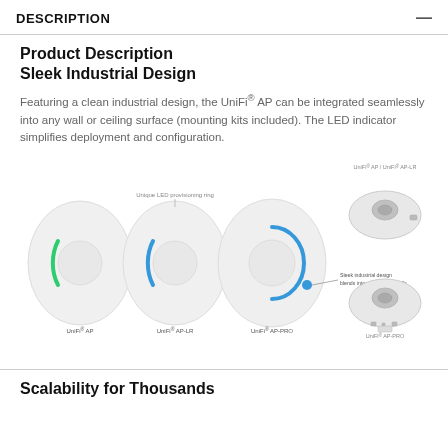DESCRIPTION
Product Description
Sleek Industrial Design
Featuring a clean industrial design, the UniFi® AP can be integrated seamlessly into any wall or ceiling surface (mounting kits included). The LED indicator simplifies deployment and configuration.
[Figure (illustration): Diagram showing three UniFi AP device variants (UniFi AP, UniFi AP-LR, UniFi AP-PRO) from the front with LED ring indicators (green and blue), labeled with 'Unique LED provisioning ring'. Also shows top-down views of UniFi AP / UniFi AP-LR and UniFi AP-PRO. A callout label reads 'Sleek industrial design blends into ceilings and walls'.]
Scalability for Thousands